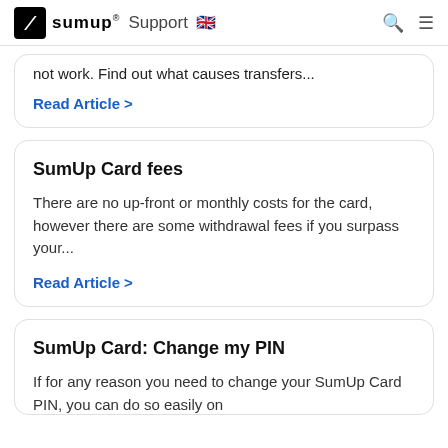SumUp® Support 🇬🇧
not work. Find out what causes transfers...
Read Article >
SumUp Card fees
There are no up-front or monthly costs for the card, however there are some withdrawal fees if you surpass your...
Read Article >
SumUp Card: Change my PIN
If for any reason you need to change your SumUp Card PIN, you can do so easily on